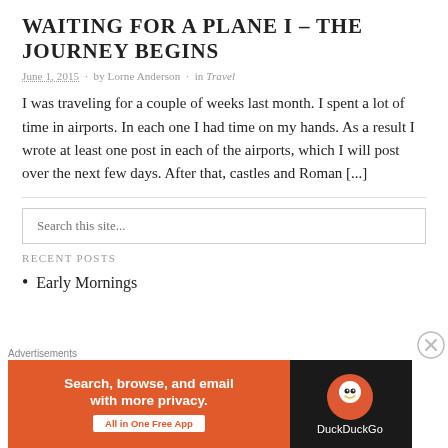WAITING FOR A PLANE I – THE JOURNEY BEGINS
June 1, 2015 · by Lorne Anderson · in Travel
I was traveling for a couple of weeks last month. I spent a lot of time in airports. In each one I had time on my hands. As a result I wrote at least one post in each of the airports, which I will post over the next few days. After that, castles and Roman [...]
Search this site...
RECENT POSTS
Early Mornings
[Figure (screenshot): DuckDuckGo advertisement banner: orange left panel with text 'Search, browse, and email with more privacy. All in One Free App' and dark right panel with DuckDuckGo duck logo and 'DuckDuckGo' text. Labeled 'Advertisements' above.]